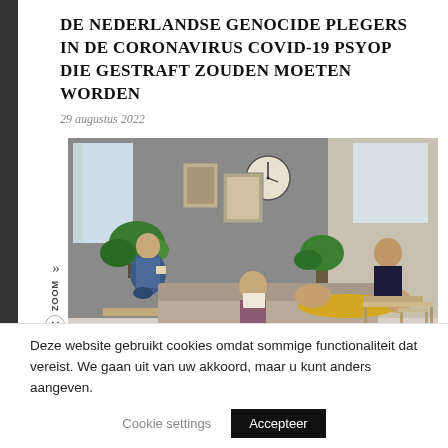DE NEDERLANDSE GENOCIDE PLEGERS IN DE CORONAVIRUS COVID-19 PSYOP DIE GESTRAFT ZOUDEN MOETEN WORDEN
29 augustus 2022
[Figure (photo): Photo of several young people relaxing and working in a modern living room/shared space. One man sits on a windowsill reading, two women lounge on a sofa, one woman works at a desk in the background, with plants, art frames, and a clock on the wall.]
Deze website gebruikt cookies omdat sommige functionaliteit dat vereist. We gaan uit van uw akkoord, maar u kunt anders aangeven.
Cookie settings
Accepteer